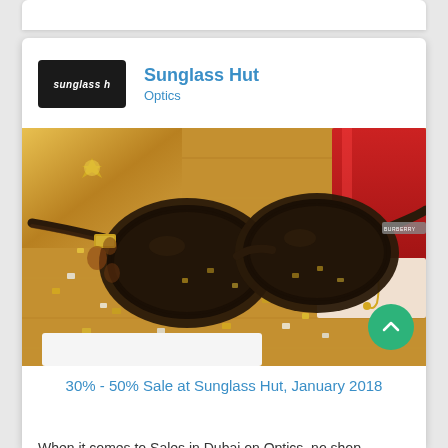Sunglass Hut
Optics
[Figure (photo): A pair of dark brown cat-eye sunglasses with gold hardware on a wooden surface covered with gold and silver confetti, with gift boxes and red and cream accessories in the background.]
30% - 50% Sale at Sunglass Hut, January 2018
When it comes to Sales in Dubai on Optics, no shop